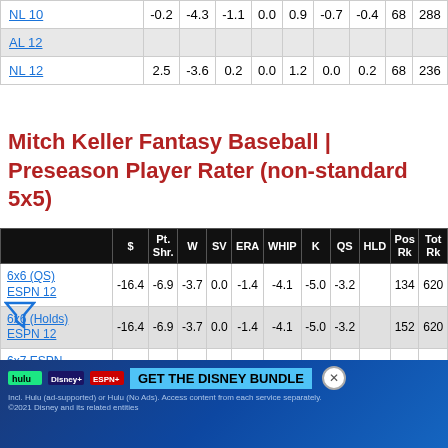|  | $ | Pt. Shr. | W | SV | ERA | WHIP | K | QS | HLD | Pos Rk | Tot Rk |
| --- | --- | --- | --- | --- | --- | --- | --- | --- | --- | --- | --- |
| NL 10 | -0.2 | -4.3 | -1.1 | 0.0 | 0.9 | -0.7 | -0.4 | 68 |  | 288 |  |
| AL 12 |  |  |  |  |  |  |  |  |  |  |  |
| NL 12 | 2.5 | -3.6 | 0.2 | 0.0 | 1.2 | 0.0 | 0.2 | 68 |  | 236 |  |
Mitch Keller Fantasy Baseball | Preseason Player Rater (non-standard 5x5)
|  | $ | Pt. Shr. | W | SV | ERA | WHIP | K | QS | HLD | Pos Rk | Tot Rk |
| --- | --- | --- | --- | --- | --- | --- | --- | --- | --- | --- | --- |
| 6x6 (QS) ESPN 12 | -16.4 | -6.9 | -3.7 | 0.0 | -1.4 | -4.1 | -5.0 | -3.2 |  | 134 | 620 |
| 6x6 (Holds) ESPN 12 | -16.4 | -6.9 | -3.7 | 0.0 | -1.4 | -4.1 | -5.0 | -3.2 |  | 152 | 620 |
| 6x7 ESPN 12 | -15.8 | -6.9 | -3.5 | 0.0 | -1.4 | -4.0 | -4.8 | -3.1 | 0.0 | 134 | 2... |
[Figure (screenshot): Disney Bundle advertisement banner with Hulu, Disney+, ESPN+ logos and GET THE DISNEY BUNDLE CTA]